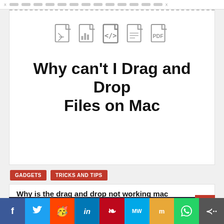[Figure (illustration): Five file type icons in outline style - zip/compressed, bar chart, code, document, PDF]
Why can't I Drag and Drop Files on Mac
GADGETS
TRICKS AND TIPS
Why is the drag and drop not working mac
May 25, 2022 / Daniel
[Figure (photo): Dark background image, bottom portion of article]
Social share buttons: Facebook, Twitter, Reddit, LinkedIn, Pinterest, MixedNews, Mix, WhatsApp, Share